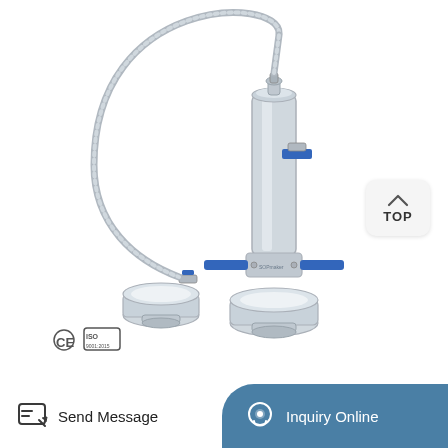[Figure (photo): Stainless steel laboratory extraction/filtration apparatus with flexible hose, vertical column with blue valve handles, collection vessels with clamp fittings, CE and ISO certification marks visible in lower left.]
TOP
Send Message
Inquiry Online